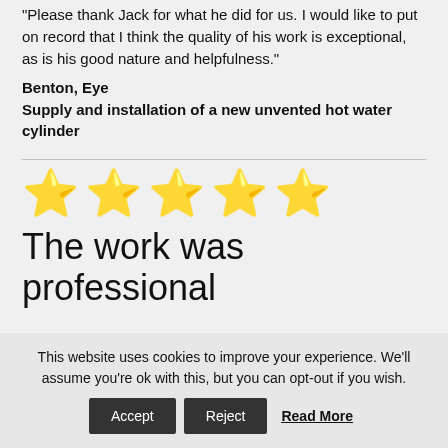"Please thank Jack for what he did for us. I would like to put on record that I think the quality of his work is exceptional, as is his good nature and helpfulness."
Benton, Eye
Supply and installation of a new unvented hot water cylinder
[Figure (other): Five gold star rating icons in a row]
The work was professional
This website uses cookies to improve your experience. We'll assume you're ok with this, but you can opt-out if you wish.
Accept | Reject | Read More